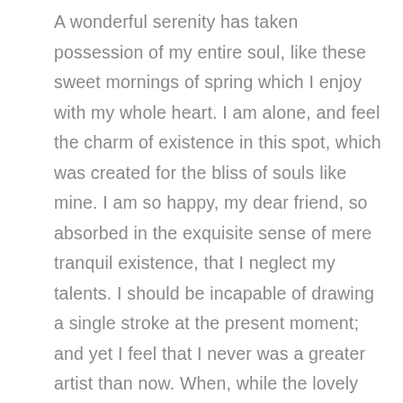A wonderful serenity has taken possession of my entire soul, like these sweet mornings of spring which I enjoy with my whole heart. I am alone, and feel the charm of existence in this spot, which was created for the bliss of souls like mine. I am so happy, my dear friend, so absorbed in the exquisite sense of mere tranquil existence, that I neglect my talents. I should be incapable of drawing a single stroke at the present moment; and yet I feel that I never was a greater artist than now. When, while the lovely valley teems with vapour around me, and the meridian sun strikes the upper surface of the impenetrable foliage of my trees, and but a few stray gleams steal into the inner sanctuary, I throw myself down among the tall grass by the trickling stream; and, as I lie close to the earth, a thousand unknown plants are noticed by me: when I hear the buzz of the little world among the stalks, and